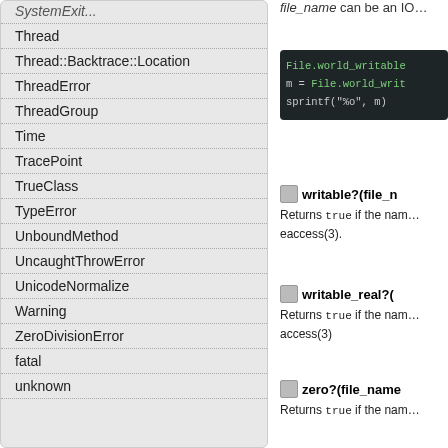Thread
Thread::Backtrace::Location
ThreadError
ThreadGroup
Time
TracePoint
TrueClass
TypeError
UnboundMethod
UncaughtThrowError
UnicodeNormalize
Warning
ZeroDivisionError
fatal
unknown
file_name can be an IO…
[Figure (screenshot): Code block showing: File.world_writable, m = File.world_writ, sprintf("%o", m)]
writable?(file_n…
Returns true if the nam… eaccess(3).
writable_real?(…
Returns true if the nam… access(3)
zero?(file_name…
Returns true if the nam…